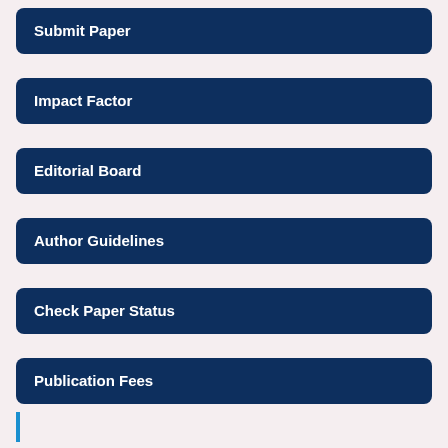Submit Paper
Impact Factor
Editorial Board
Author Guidelines
Check Paper Status
Publication Fees